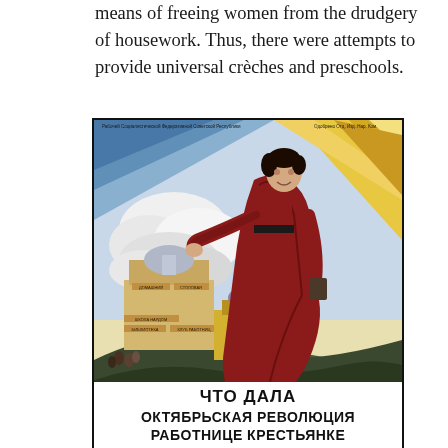means of freeing women from the drudgery of housework. Thus, there were attempts to provide universal crèches and preschools.
[Figure (illustration): Soviet propaganda poster showing a woman in red dress striding forward with arm outstretched, buildings labeled with various Soviet institutions in the background, sun rays emanating from upper right. Bottom text in Cyrillic reads 'ЧТО ДАЛА ОКТЯБРЬСКАЯ РЕВОЛЮЦИЯ РАБОТНИЦЕ КРЕСТЬЯНКЕ' (What did the October Revolution give to the working woman and peasant woman).]